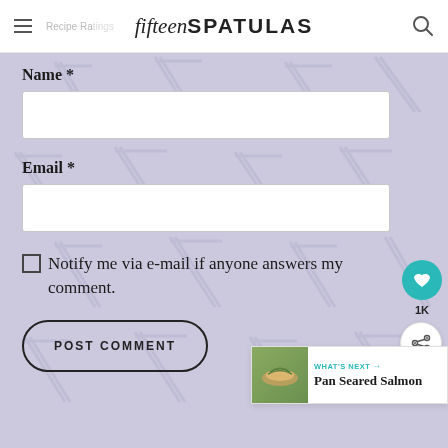fifteen SPATULAS — Recipe Ratings
[Figure (screenshot): Web form with lavender background featuring spatula watermark pattern. Contains Name and Email input fields, a checkbox for email notifications, and a POST COMMENT button. Floating action buttons for heart/like (teal, 1K) and share are visible on the right. A 'What's Next' card for Pan Seared Salmon appears bottom right.]
Name *
Email *
Notify me via e-mail if anyone answers my comment.
POST COMMENT
WHAT'S NEXT → Pan Seared Salmon